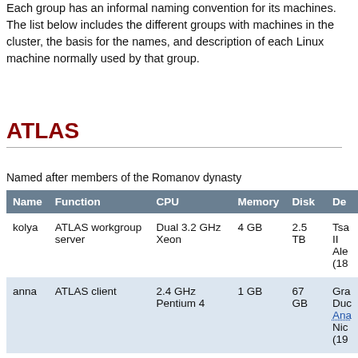Each group has an informal naming convention for its machines. The list below includes the different groups with machines in the cluster, the basis for the names, and description of each Linux machine normally used by that group.
ATLAS
Named after members of the Romanov dynasty
| Name | Function | CPU | Memory | Disk | De... |
| --- | --- | --- | --- | --- | --- |
| kolya | ATLAS workgroup server | Dual 3.2 GHz Xeon | 4 GB | 2.5 TB | Tsa... II Ale... (18... |
| anna | ATLAS client | 2.4 GHz Pentium 4 | 1 GB | 67 GB | Gra... Duc... Ana... Nic... (19... |